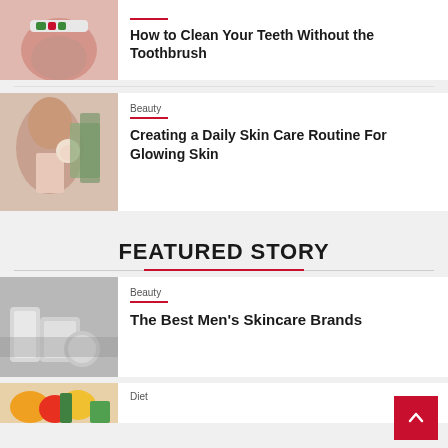[Figure (photo): Person brushing teeth with toothbrush and toothpaste]
How to Clean Your Teeth Without the Toothbrush
[Figure (photo): Woman applying facial cotton pad to skin, smiling]
Beauty
Creating a Daily Skin Care Routine For Glowing Skin
FEATURED STORY
[Figure (photo): Skincare product tubes and containers in grayscale]
Beauty
The Best Men's Skincare Brands
[Figure (photo): Fresh fruits and vegetables for diet article]